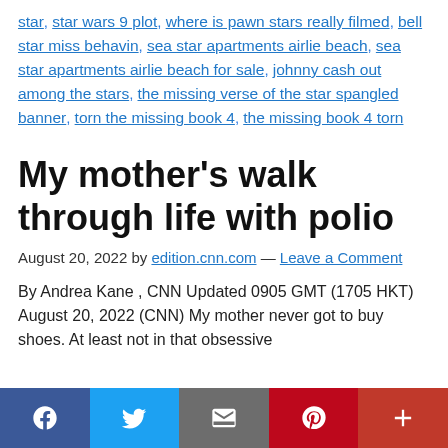star, star wars 9 plot, where is pawn stars really filmed, bell star miss behavin, sea star apartments airlie beach, sea star apartments airlie beach for sale, johnny cash out among the stars, the missing verse of the star spangled banner, torn the missing book 4, the missing book 4 torn
My mother's walk through life with polio
August 20, 2022 by edition.cnn.com — Leave a Comment
By Andrea Kane , CNN Updated 0905 GMT (1705 HKT) August 20, 2022 (CNN) My mother never got to buy shoes. At least not in that obsessive